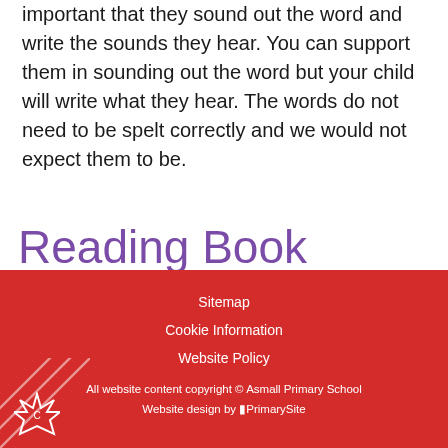important that they sound out the word and write the sounds they hear. You can support them in sounding out the word but your child will write what they hear. The words do not need to be spelt correctly and we would not expect them to be.
Reading Book
Sitemap
Cookie Information
Website Policy
All website content copyright © Asmall Primary School
Website design by PrimarySite